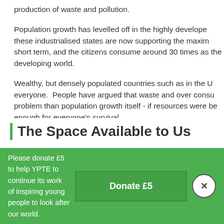production of waste and pollution.
Population growth has levelled off in the highly developed these industrialised states are now supporting the maxim short term, and the citizens consume around 30 times as the developing world.
Wealthy, but densely populated countries such as in the U everyone.  People have argued that waste and over consu problem than population growth itself - if resources were be enough for everyone's survival.
The Space Available to Us
Please donate £5 to help YPTE to continue its work of inspiring young people to look after our world.
Donate £5